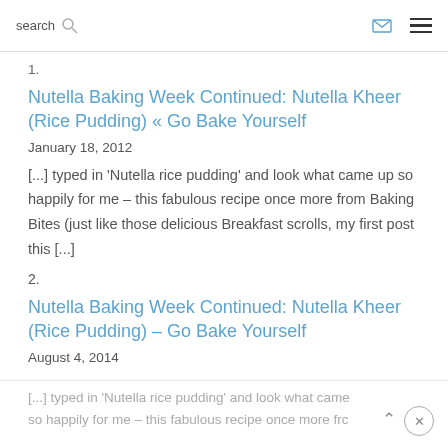search [search icon] [envelope icon] [menu icon]
1.
Nutella Baking Week Continued: Nutella Kheer (Rice Pudding) « Go Bake Yourself
January 18, 2012
[...] typed in 'Nutella rice pudding' and look what came up so happily for me – this fabulous recipe once more from Baking Bites (just like those delicious Breakfast scrolls, my first post this [...]
2.
Nutella Baking Week Continued: Nutella Kheer (Rice Pudding) – Go Bake Yourself
August 4, 2014
[...] typed in 'Nutella rice pudding' and look what came so happily for me – this fabulous recipe once more frc